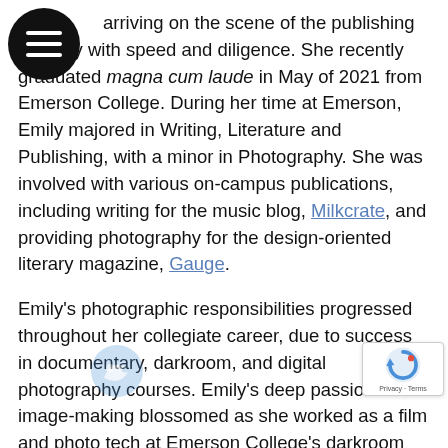arriving on the scene of the publishing industry with speed and diligence. She recently graduated magna cum laude in May of 2021 from Emerson College. During her time at Emerson, Emily majored in Writing, Literature and Publishing, with a minor in Photography. She was involved with various on-campus publications, including writing for the music blog, Milkcrate, and providing photography for the design-oriented literary magazine, Gauge.
Emily's photographic responsibilities progressed throughout her collegiate career, due to success in documentary, darkroom, and digital photography courses. Emily's deep passion for image-making blossomed as she worked as a film and photo tech at Emerson College's darkroom and photo lab. Able to produce images both through both analog and digital mediums, Emily enjoys documenting street photography and live music events. Her debut photography exhibition, "People Watching" was showcased at the Hurst...